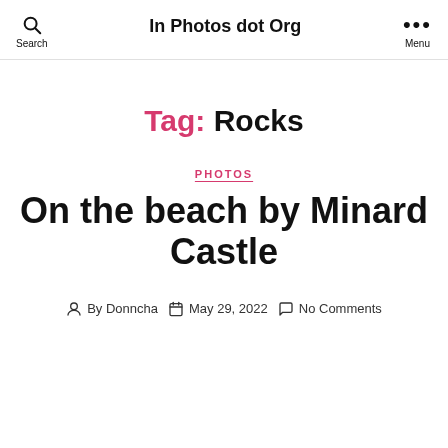In Photos dot Org
Tag: Rocks
PHOTOS
On the beach by Minard Castle
By Donncha  May 29, 2022  No Comments